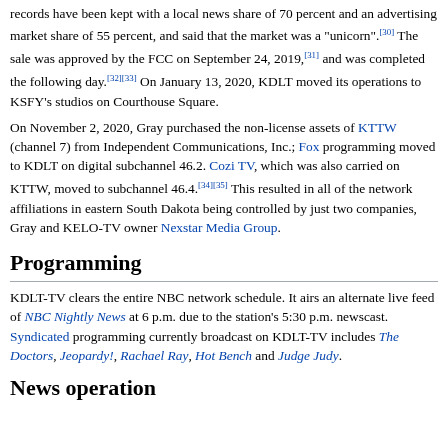records have been kept with a local news share of 70 percent and an advertising market share of 55 percent, and said that the market was a "unicorn".[30] The sale was approved by the FCC on September 24, 2019,[31] and was completed the following day.[32][33] On January 13, 2020, KDLT moved its operations to KSFY's studios on Courthouse Square.
On November 2, 2020, Gray purchased the non-license assets of KTTW (channel 7) from Independent Communications, Inc.; Fox programming moved to KDLT on digital subchannel 46.2. Cozi TV, which was also carried on KTTW, moved to subchannel 46.4.[34][35] This resulted in all of the network affiliations in eastern South Dakota being controlled by just two companies, Gray and KELO-TV owner Nexstar Media Group.
Programming
KDLT-TV clears the entire NBC network schedule. It airs an alternate live feed of NBC Nightly News at 6 p.m. due to the station's 5:30 p.m. newscast. Syndicated programming currently broadcast on KDLT-TV includes The Doctors, Jeopardy!, Rachael Ray, Hot Bench and Judge Judy.
News operation